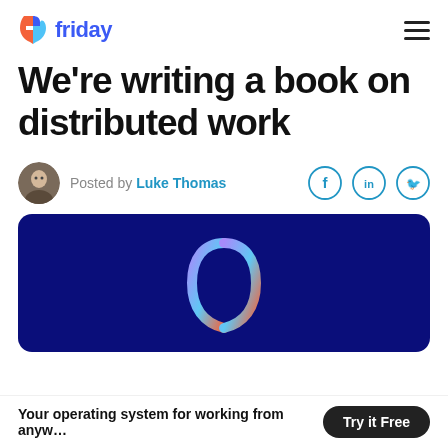friday
We're writing a book on distributed work
Posted by Luke Thomas
[Figure (illustration): Dark blue banner with a gradient book/logo icon (blue/purple/orange tones) centered on a deep navy background]
Your operating system for working from anyw... Try it Free